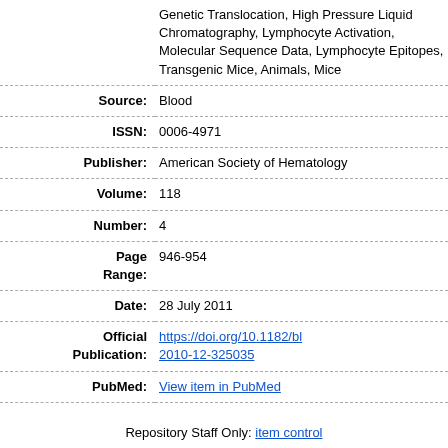| Label | Value |
| --- | --- |
|  | Genetic Translocation, High Pressure Liquid Chromatography, Lymphocyte Activation, Molecular Sequence Data, Lymphocyte Epitopes, Transgenic Mice, Animals, Mice |
| Source: | Blood |
| ISSN: | 0006-4971 |
| Publisher: | American Society of Hematology |
| Volume: | 118 |
| Number: | 4 |
| Page Range: | 946-954 |
| Date: | 28 July 2011 |
| Official Publication: | https://doi.org/10.1182/blood-2010-12-325035 |
| PubMed: | View item in PubMed |
Repository Staff Only: item control